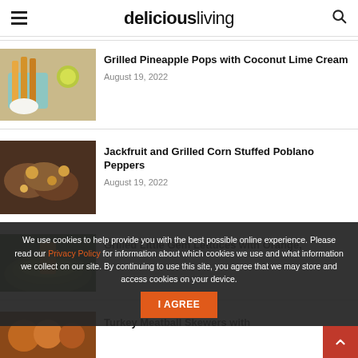deliciousliving
[Figure (photo): Grilled pineapple skewers on a blue plate with lime slices and whipped cream]
Grilled Pineapple Pops with Coconut Lime Cream
August 19, 2022
[Figure (photo): Jackfruit and grilled corn stuffed poblano peppers on a dark plate]
Jackfruit and Grilled Corn Stuffed Poblano Peppers
August 19, 2022
[Figure (photo): Grilled Little Gem lettuce with orange]
Grilled Little Gem Lettuces with Orange,
[Figure (photo): Turkey skewers dish thumbnail]
Turkey Meatball Skewers with
We use cookies to help provide you with the best possible online experience. Please read our Privacy Policy for information about which cookies we use and what information we collect on our site. By continuing to use this site, you agree that we may store and access cookies on your device.